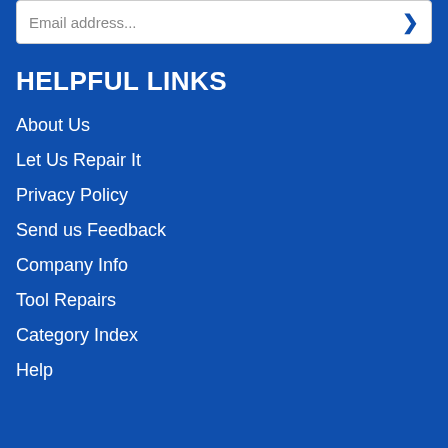Email address...
HELPFUL LINKS
About Us
Let Us Repair It
Privacy Policy
Send us Feedback
Company Info
Tool Repairs
Category Index
Help